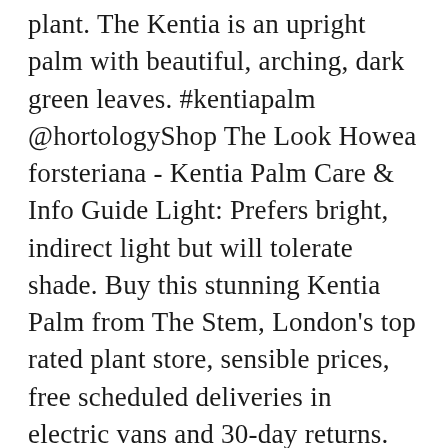plant. The Kentia is an upright palm with beautiful, arching, dark green leaves. #kentiapalm @hortologyShop The Look Howea forsteriana - Kentia Palm Care & Info Guide Light: Prefers bright, indirect light but will tolerate shade. Buy this stunning Kentia Palm from The Stem, London's top rated plant store, sensible prices, free scheduled deliveries in electric vans and 30-day returns. The height from the base of the pot to ... Also known as: Kentia Palm, Paradise Palm Plant, Thatch Palm, Parlour Palm The Howea fosteriana is the perfect statement plant. Below are minor but crucial care points that will help you produce the most magnificent Kentia palm. We use cookies and similar tools to enhance your